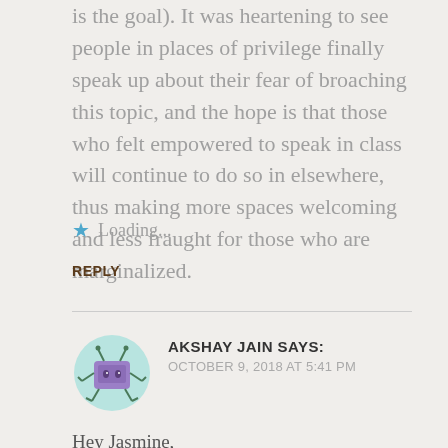is the goal). It was heartening to see people in places of privilege finally speak up about their fear of broaching this topic, and the hope is that those who felt empowered to speak in class will continue to do so in elsewhere, thus making more spaces welcoming and less fraught for those who are marginalized.
★ Loading...
REPLY
AKSHAY JAIN SAYS:
OCTOBER 9, 2018 AT 5:41 PM
Hey Jasmine,
This is a very interesting post. Having a bias